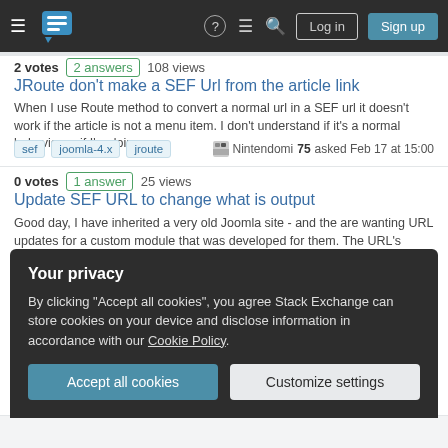Stack Exchange navigation bar with hamburger menu, logo, help, chat, search icons, Log in and Sign up buttons
2 votes  2 answers  108 views
JRoute don't make a SEF Url from the article link
When I use Route method to convert a normal url in a SEF url it doesn't work if the article is not a menu item. I don't understand if it's a normal behavior or if I'm doing…
sef  joomla-4.x  jroute  Nintendomi 75 asked Feb 17 at 15:00
0 votes  1 answer  25 views
Update SEF URL to change what is output
Good day, I have inherited a very old Joomla site - and the are wanting URL updates for a custom module that was developed for them. The URL's currently contain car-…
Your privacy
By clicking "Accept all cookies", you agree Stack Exchange can store cookies on your device and disclose information in accordance with our Cookie Policy.
Accept all cookies  Customize settings